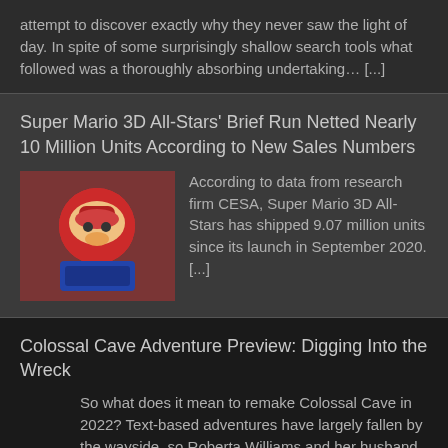attempt to discover exactly why they never saw the light of day. In spite of some surprisingly shallow search tools what followed was a thoroughly absorbing undertaking… [...]
Super Mario 3D All-Stars' Brief Run Netted Nearly 10 Million Units According to New Sales Numbers
[Figure (photo): Super Mario 3D All-Stars game cover thumbnail]
According to data from research firm CESA, Super Mario 3D All-Stars has shipped 9.07 million units since its launch in September 2020. [...]
Colossal Cave Adventure Preview: Digging Into the Wreck
So what does it mean to remake Colossal Cave in 2022? Text-based adventures have largely fallen by the wayside, so Roberta Williams and her husband Ken Williams are tackling the adventure most notably by visualizing it for the first time. [...]
Opinion: Netflix's BioShock Movie Should be a Prequel, Not an Adaptation